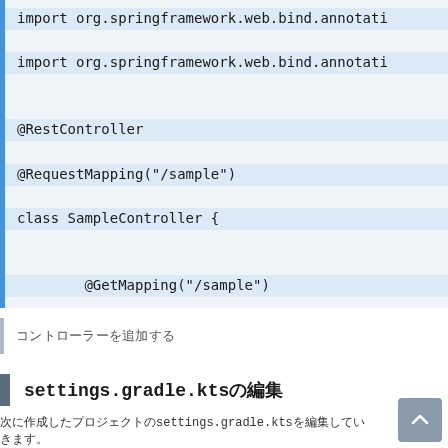import org.springframework.web.bind.annotati
import org.springframework.web.bind.annotati

@RestController
@RequestMapping("/sample")
class SampleController {

        @GetMapping("/sample")
        fun sample(): String {
            return "sample controller access."
        }
    }
コントローラーを追加する
settings.gradle.ktsの編集
次に作成したプロジェクトのsettings.gradle.ktsを編集していきます。